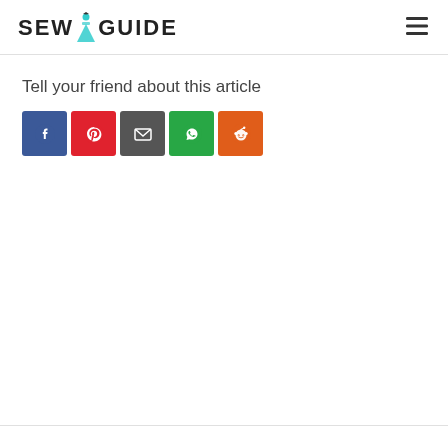SEW GUIDE
Tell your friend about this article
[Figure (other): Row of five social share icon buttons: Facebook (blue), Pinterest (red), Email (dark gray), WhatsApp (green), Reddit (orange)]